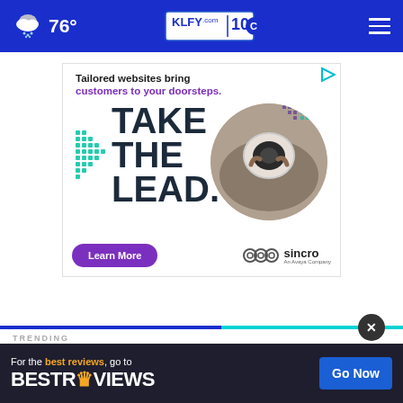76° KLFY.com 10
[Figure (screenshot): Sincro advertisement: 'Tailored websites bring customers to your doorsteps. TAKE THE LEAD. Learn More' with photo of person driving and Sincro logo]
TRENDING
[Figure (infographic): BestReviews bottom banner ad: 'For the best reviews, go to BESTREVIEWS' with 'Go Now' button]